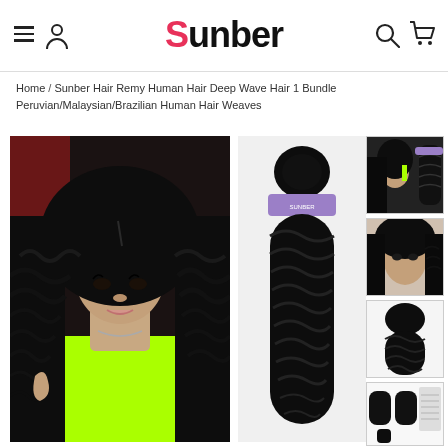Sunber — navigation header with hamburger menu, user icon, logo, search icon, cart icon
Home / Sunber Hair Remy Human Hair Deep Wave Hair 1 Bundle Peruvian/Malaysian/Brazilian Human Hair Weaves
[Figure (photo): Young woman with long deep wave curly black hair, wearing neon green top, posing with hand gesture]
[Figure (photo): Deep wave hair bundle with purple label band, shown against white background]
[Figure (photo): Thumbnail: woman in green top with deep wave hair and a separate bundle]
[Figure (photo): Thumbnail: woman with long deep wave curly hair, close-up]
[Figure (photo): Thumbnail: deep wave hair bundle close-up]
[Figure (photo): Thumbnail: multiple bundles product display with size chart]